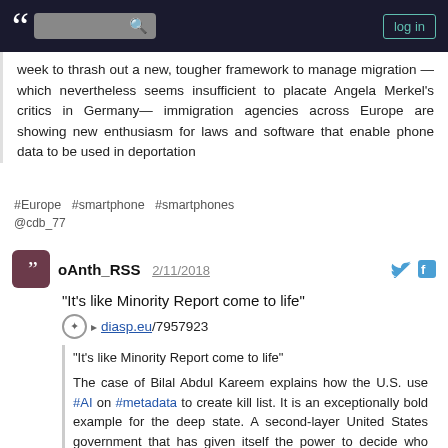log in
week to thrash out a new, tougher framework to manage migration —which nevertheless seems insufficient to placate Angela Merkel's critics in Germany— immigration agencies across Europe are showing new enthusiasm for laws and software that enable phone data to be used in deportation
#Europe #smartphone #smartphones
@cdb_77
oAnth_RSS  2/11/2018
"It's like Minority Report come to life"
▸ diasp.eu/7957923
"It's like Minority Report come to life"

The case of Bilal Abdul Kareem explains how the U.S. use #AI on #metadata to create kill list. It is an exceptionally bold example for the deep state. A second-layer United States government that has given itself the power to decide who might live – and who might be extralegally executed. An excellent piece of #journalism – from a magazine you wouldn't expect. ▸ rollingstone.com/.../how-to-survive-americas-k… [en]

A century ago, Franz Kafka wrote a parable about a man who